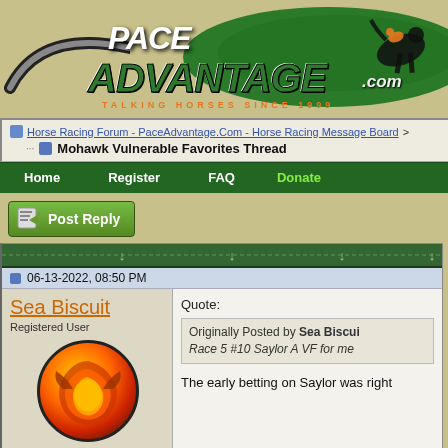[Figure (logo): PaceAdvantage.com logo with horse racing jockey and green ellipse background, orange tagline 'TALKING HORSES SINCE 1999']
Horse Racing Forum - PaceAdvantage.Com - Horse Racing Message Board > ...
Mohawk Vulnerable Favorites Thread
Home  Register  FAQ  Donate
Post Reply
06-13-2022, 08:50 PM
Sea Biscuit
Registered User
Join Date: Oct 2007
Quote:
Originally Posted by Sea Biscuit
Race 5 #10 Saylor A VF for me
The early betting on Saylor was right